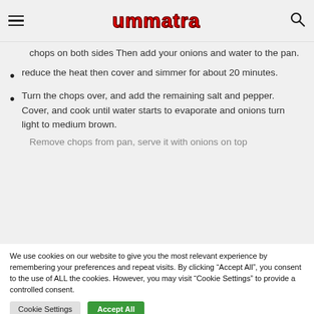ummatra
chops on both sides Then add your onions and water to the pan.
reduce the heat then cover and simmer for about 20 minutes.
Turn the chops over, and add the remaining salt and pepper. Cover, and cook until water starts to evaporate and onions turn light to medium brown.
Remove chops from pan, serve it with onions on top...
We use cookies on our website to give you the most relevant experience by remembering your preferences and repeat visits. By clicking “Accept All”, you consent to the use of ALL the cookies. However, you may visit “Cookie Settings” to provide a controlled consent.